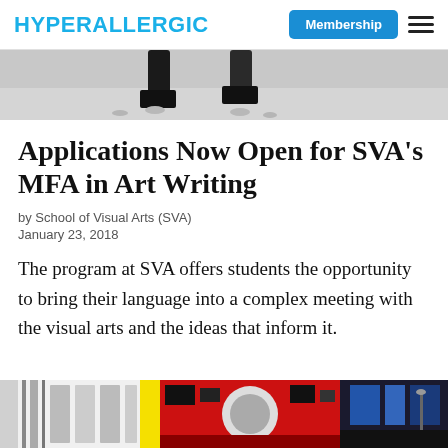HYPERALLERGIC
[Figure (photo): Black and white photo showing legs and boots walking on snow or sand, cropped at the top of the page]
Applications Now Open for SVA's MFA in Art Writing
by School of Visual Arts (SVA)
January 23, 2018
The program at SVA offers students the opportunity to bring their language into a complex meeting with the visual arts and the ideas that inform it.
[Figure (photo): Colorful artwork or illustration visible at the bottom of the page, featuring yellow, red, black and blue graphic elements]